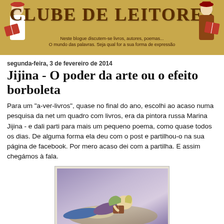[Figure (illustration): Clube de Leitores blog header banner with decorative figures of people reading books on sides, golden/ochre background, title 'Clube de Leitores' in serif font, subtitle 'Neste blogue discutem-se livros, autores, poemas... O mundo das palavras. Seja qual for a sua forma de expressão']
segunda-feira, 3 de fevereiro de 2014
Jijina - O poder da arte ou o efeito borboleta
Para um "a-ver-livros", quase no final do ano, escolhi ao acaso numa pesquisa da net um quadro com livros, era da pintora russa Marina Jijina - e dali parti para mais um pequeno poema, como quase todos os dias. De alguma forma ela deu com o post e partilhou-o na sua página de facebook. Por mero acaso dei com a partilha. E assim chegámos à fala.
[Figure (illustration): Painting showing a woman with green/blonde hair lying down reading a book, wearing blue pants, purple/lavender background, soft painterly style]